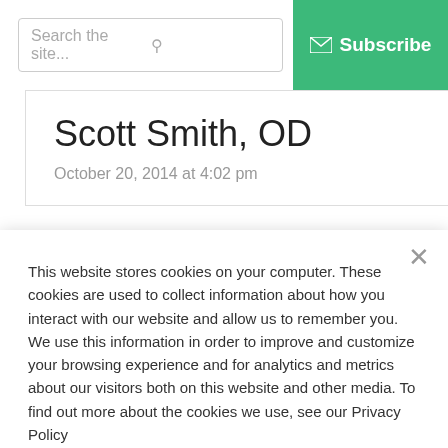Search the site...  Subscribe
Scott Smith, OD
October 20, 2014 at 4:02 pm
This website stores cookies on your computer. These cookies are used to collect information about how you interact with our website and allow us to remember you. We use this information in order to improve and customize your browsing experience and for analytics and metrics about our visitors both on this website and other media. To find out more about the cookies we use, see our Privacy Policy
Accept